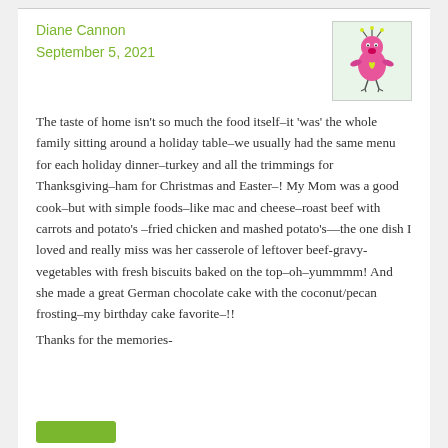Diane Cannon
September 5, 2021
[Figure (illustration): A cartoon illustration of a small pink bird-like character with yellow accents, standing upright, on a light green background.]
The taste of home isn't so much the food itself–it 'was' the whole family sitting around a holiday table–we usually had the same menu for each holiday dinner–turkey and all the trimmings for Thanksgiving–ham for Christmas and Easter–! My Mom was a good cook–but with simple foods–like mac and cheese–roast beef with carrots and potato's –fried chicken and mashed potato's—the one dish I loved and really miss was her casserole of leftover beef-gravy-vegetables with fresh biscuits baked on the top–oh–yummmm! And she made a great German chocolate cake with the coconut/pecan frosting–my birthday cake favorite–!!
Thanks for the memories-